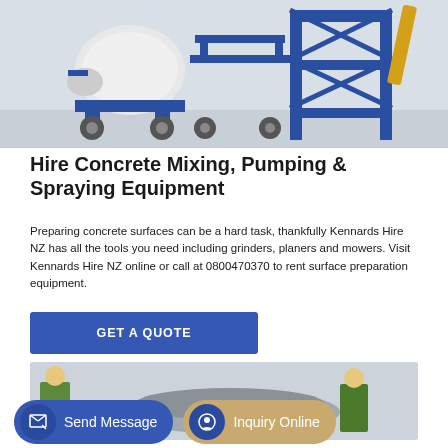[Figure (photo): Blue concrete mixing and pumping equipment - a concrete mixer on wheels and a tall blue industrial tower/scaffold structure, rendered product image on light background]
Hire Concrete Mixing, Pumping & Spraying Equipment
Preparing concrete surfaces can be a hard task, thankfully Kennards Hire NZ has all the tools you need including grinders, planers and mowers. Visit Kennards Hire NZ online or call at 0800470370 to rent surface preparation equipment.
GET A QUOTE
[Figure (photo): Partial view of construction/industrial equipment and workers in high-visibility gear, bottom portion of page]
Send Message
Inquiry Online